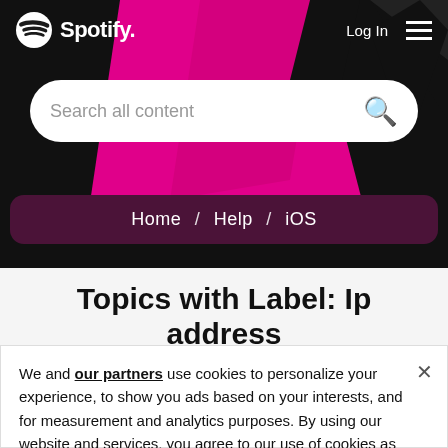[Figure (screenshot): Spotify header with black background, pink/magenta geometric shapes, Spotify logo top-left, Log In and hamburger menu top-right]
Log In
Search all content
Home / Help / iOS
Topics with Label: Ip address
We and our partners use cookies to personalize your experience, to show you ads based on your interests, and for measurement and analytics purposes. By using our website and services, you agree to our use of cookies as described in our Cookie Policy.